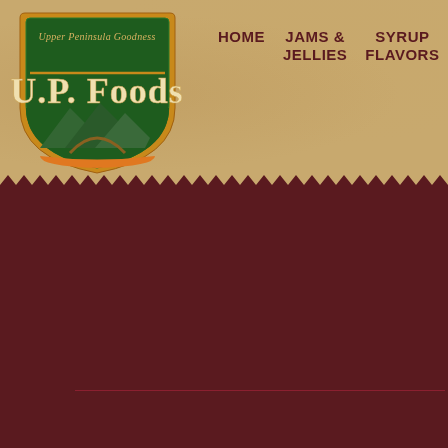[Figure (logo): U.P. Foods logo — green shield badge with gold border, text 'Upper Peninsula Goodness' at top, 'U.P. Foods' in large cream/white lettering, landscape scene at bottom]
HOME   JAMS & JELLIES   SYRUP FLAVORS